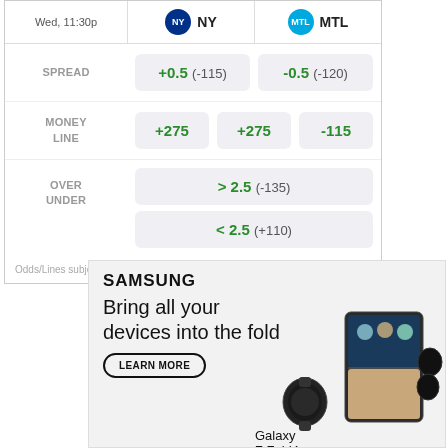|  | NY | MTL |
| --- | --- | --- |
| SPREAD | +0.5 (-115) | -0.5 (-120) |
| MONEY LINE | +275 | +275 / -115 |
| OVER UNDER | > 2.5 (-135) / < 2.5 (+110) |  |
Odds/Lines subject to change. See draftkings.com for details.
[Figure (photo): Samsung advertisement showing Galaxy Z Fold4 with devices. Text: SAMSUNG, Bring all your devices into the fold, LEARN MORE, Galaxy Z Fold4]